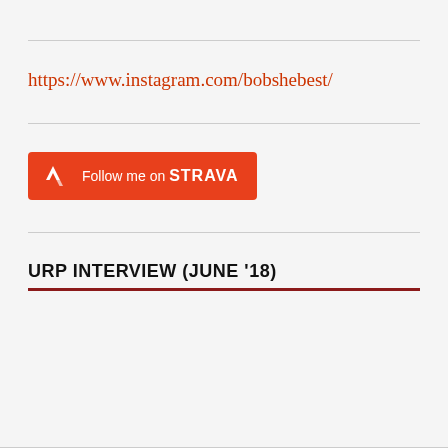https://www.instagram.com/bobshebest/
[Figure (logo): Follow me on STRAVA button — orange rectangular button with Strava lightning bolt logo on the left and text 'Follow me on STRAVA' in white]
URP INTERVIEW (JUNE '18)